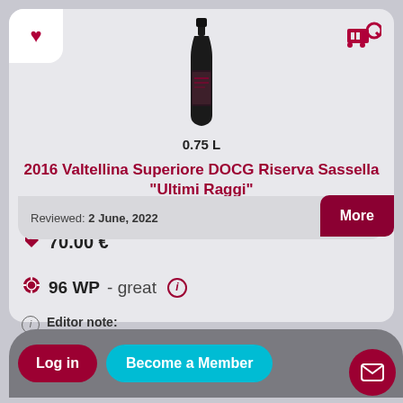[Figure (photo): Dark wine bottle, tall and slim with label]
0.75 L
2016 Valtellina Superiore DOCG Riserva Sassella "Ultimi Raggi"
70.00 €
96 WP - great  i
Editor note:
Very firm and deep, distinctly complex, fresh and precise, somewhat leathery and tobacco, also iodin...
Reviewed: 2 June, 2022
More
Log in
Become a Member